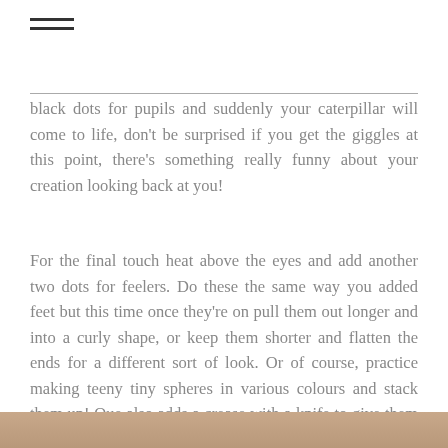≡
black dots for pupils and suddenly your caterpillar will come to life, don't be surprised if you get the giggles at this point, there's something really funny about your creation looking back at you!
For the final touch heat above the eyes and add another two dots for feelers. Do these the same way you added feet but this time once they're on pull them out longer and into a curly shape, or keep them shorter and flatten the ends for a different sort of look. Or of course, practice making teeny tiny spheres in various colours and stack them up! Que also adds a crease with a knife to give them a mouth but Penel doesn't bother with this step because her eyesight is not as good!
[Figure (photo): Partial image visible at bottom of page, warm brown/tan tones]